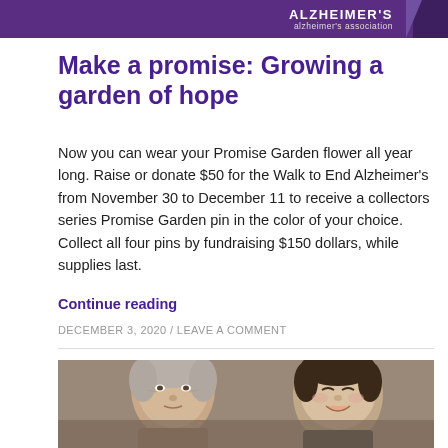ALZHEIMER'S alzheimer's association
Make a promise: Growing a garden of hope
Now you can wear your Promise Garden flower all year long. Raise or donate $50 for the Walk to End Alzheimer's from November 30 to December 11 to receive a collectors series Promise Garden pin in the color of your choice. Collect all four pins by fundraising $150 dollars, while supplies last.
Continue reading
DECEMBER 3, 2020 / LEAVE A COMMENT
[Figure (photo): Photo of an elderly woman and a young boy smiling together]